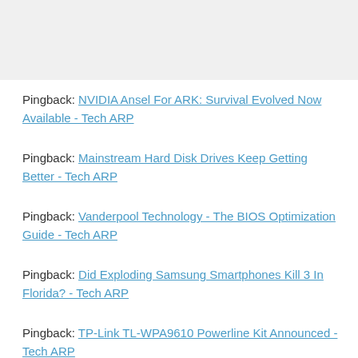Pingback: NVIDIA Ansel For ARK: Survival Evolved Now Available - Tech ARP
Pingback: Mainstream Hard Disk Drives Keep Getting Better - Tech ARP
Pingback: Vanderpool Technology - The BIOS Optimization Guide - Tech ARP
Pingback: Did Exploding Samsung Smartphones Kill 3 In Florida? - Tech ARP
Pingback: TP-Link TL-WPA9610 Powerline Kit Announced - Tech ARP